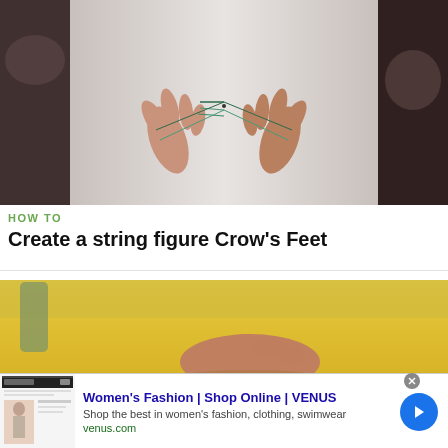[Figure (photo): Two hands stretching a string figure (Crow's Feet) against a white background, viewed from above. Dark blurred background on sides.]
HOW TO
Create a string figure Crow's Feet
[Figure (photo): Close-up of a hand on a yellow illuminated surface, likely demonstrating a step in string figure creation.]
[Figure (screenshot): Advertisement: Women's Fashion | Shop Online | VENUS. Shop the best in women's fashion, clothing, swimwear. venus.com]